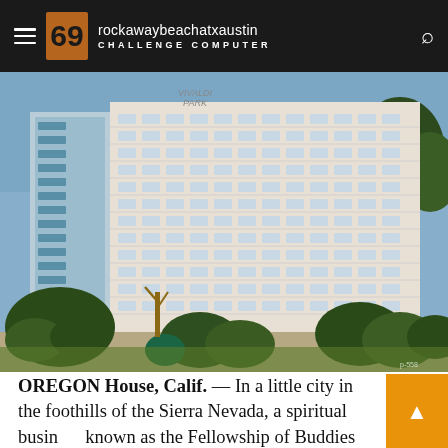rockawaybeachatxaustin CHALLENGE COMPUTER
[Figure (photo): Exterior photograph of a large multi-story hotel or office building labeled VIVALDI PARK, with manicured trees and shrubs in the foreground, photographed from a low angle against a blue sky.]
OREGON House, Calif. — In a little city in the foothills of the Sierra Nevada, a spiritual business known as the Fellowship of Buddies has set up an